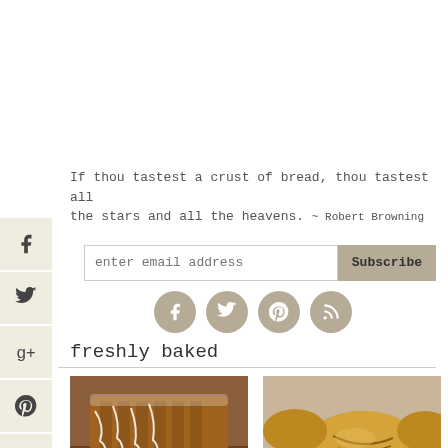If thou tastest a crust of bread, thou tastest all the stars and all the heavens. ~ Robert Browning
[Figure (infographic): Email subscription bar with text input 'enter email address' and a Subscribe button]
[Figure (infographic): Four circular social media icons: Facebook, Twitter, Pinterest, RSS]
freshly baked
[Figure (photo): Photo of sliced cinnamon bread with white icing drizzle on a wooden board]
[Figure (photo): Photo of rustic artisan bread rolls in a cloth-lined basket]